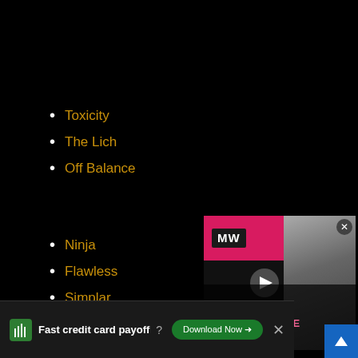Toxicity
The Lich
Off Balance
Ninja
Flawless
Simplar
Fury
Sting
Yogi
[Figure (screenshot): Video player overlay showing Apex Legends Hunted Update advertisement with MW logo and a game character]
Fast credit card payoff — Download Now (Tally advertisement)